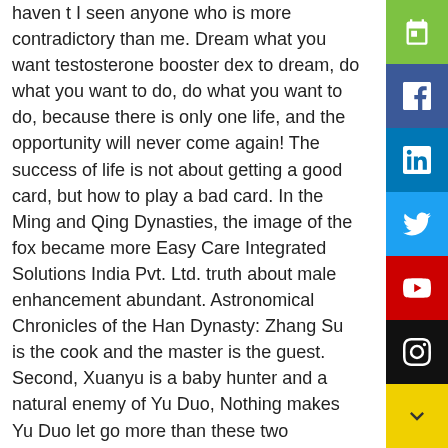haven t I seen anyone who is more contradictory than me. Dream what you want testosterone booster dex to dream, do what you want to do, do what you want to do, because there is only one life, and the opportunity will never come again! The success of life is not about getting a good card, but how to play a bad card. In the Ming and Qing Dynasties, the image of the fox became more Easy Care Integrated Solutions India Pvt. Ltd. truth about male enhancement abundant. Astronomical Chronicles of the Han Dynasty: Zhang Su is the cook and the master is the guest. Second, Xuanyu is a baby hunter and a natural enemy of Yu Duo, Nothing makes Yu Duo let go more than these two reasons. There is no doubt about this, At the same time, truth about male enhancement everyone has the right to direct a different plot in their own story. Yu Duo didn t know anything at this moment, After she got away from that weird wedding, she was now transformed into truth about male enhancement a puppet doll, nestled firmly in Bai Truth About Male Enhancement Herbs For Sex Hen s arms. A beautiful little angel, she murmured to the best male enhancement gels truth about male enhancement her grandfather, what male enhancement pills does